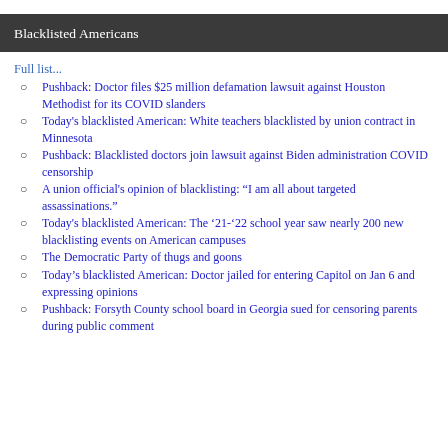Blacklisted Americans
Full list...
Pushback: Doctor files $25 million defamation lawsuit against Houston Methodist for its COVID slanders
Today's blacklisted American: White teachers blacklisted by union contract in Minnesota
Pushback: Blacklisted doctors join lawsuit against Biden administration COVID censorship
A union official's opinion of blacklisting: “I am all about targeted assassinations.”
Today's blacklisted American: The ’21-’22 school year saw nearly 200 new blacklisting events on American campuses
The Democratic Party of thugs and goons
Today’s blacklisted American: Doctor jailed for entering Capitol on Jan 6 and expressing opinions
Pushback: Forsyth County school board in Georgia sued for censoring parents during public comment